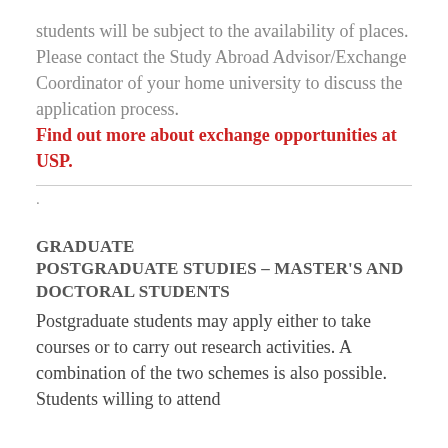students will be subject to the availability of places. Please contact the Study Abroad Advisor/Exchange Coordinator of your home university to discuss the application process. Find out more about exchange opportunities at USP.
.
GRADUATE
POSTGRADUATE STUDIES – MASTER'S AND DOCTORAL STUDENTS
Postgraduate students may apply either to take courses or to carry out research activities. A combination of the two schemes is also possible. Students willing to attend